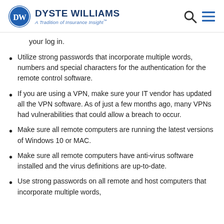Dyste Williams – A Tradition of Insurance Insight™
your log in.
Utilize strong passwords that incorporate multiple words, numbers and special characters for the authentication for the remote control software.
If you are using a VPN, make sure your IT vendor has updated all the VPN software. As of just a few months ago, many VPNs had vulnerabilities that could allow a breach to occur.
Make sure all remote computers are running the latest versions of Windows 10 or MAC.
Make sure all remote computers have anti-virus software installed and the virus definitions are up-to-date.
Use strong passwords on all remote and host computers that incorporate multiple words…